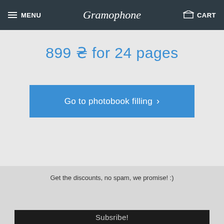MENU | Gramophone | CART
899 ₴ for 24 pages
Go to photobook filling >
Get the discounts, no spam, we promise! :)
email
Subsribe!